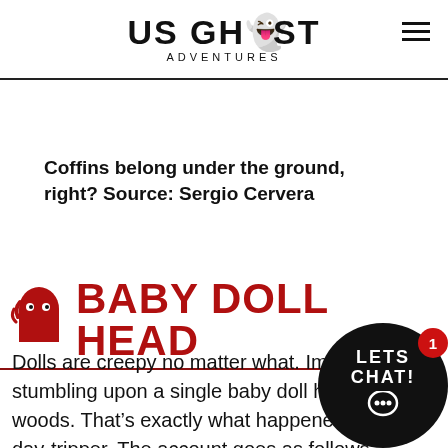US GHOST ADVENTURES
Coffins belong under the ground, right? Source: Sergio Cervera
BABY DOLL HEAD
Dolls are creepy no matter what. Imagine stumbling upon a single baby doll head in the woods. That's exactly what happened to one day-tripper. The account goes as follows: